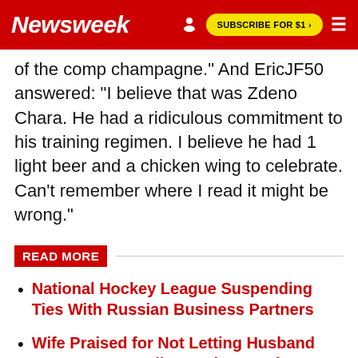Newsweek | SUBSCRIBE FOR $1 >
of the comp champagne." And EricJF50 answered: "I believe that was Zdeno Chara. He had a ridiculous commitment to his training regimen. I believe he had 1 light beer and a chicken wing to celebrate. Can't remember where I read it might be wrong."
READ MORE
National Hockey League Suspending Ties With Russian Business Partners
Wife Praised for Not Letting Husband Use Internet Until He Helps Pay for It